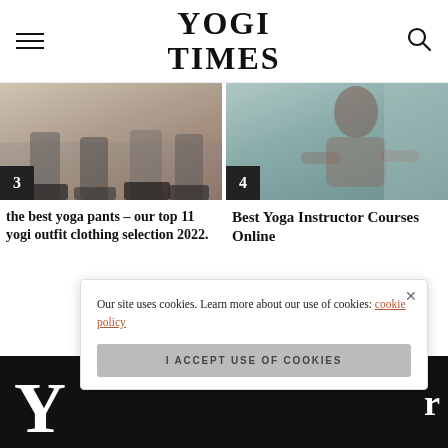YOGI TIMES
[Figure (photo): Two people in yoga/athletic wear, lower body visible, wearing sneakers on a gym floor. Number badge '3' in bottom left corner.]
the best yoga pants – our top 11 yogi outfit clothing selection 2022.
[Figure (photo): Person in yoga pose against a light teal wall. Number badge '4' in bottom left corner.]
Best Yoga Instructor Courses Online
Our site uses cookies. Learn more about our use of cookies: cookie policy
I ACCEPT USE OF COOKIES